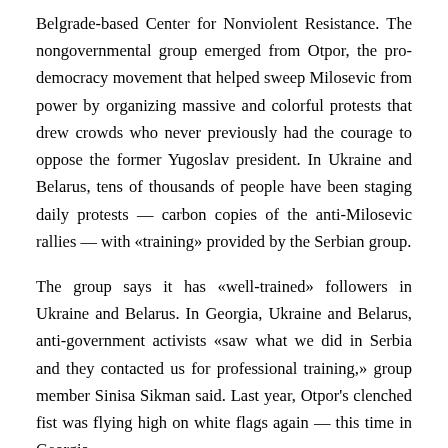Belgrade-based Center for Nonviolent Resistance. The nongovernmental group emerged from Otpor, the pro-democracy movement that helped sweep Milosevic from power by organizing massive and colorful protests that drew crowds who never previously had the courage to oppose the former Yugoslav president. In Ukraine and Belarus, tens of thousands of people have been staging daily protests — carbon copies of the anti-Milosevic rallies — with «training» provided by the Serbian group.
The group says it has «well-trained» followers in Ukraine and Belarus. In Georgia, Ukraine and Belarus, anti-government activists «saw what we did in Serbia and they contacted us for professional training,» group member Sinisa Sikman said. Last year, Otpor's clenched fist was flying high on white flags again — this time in Georgia,